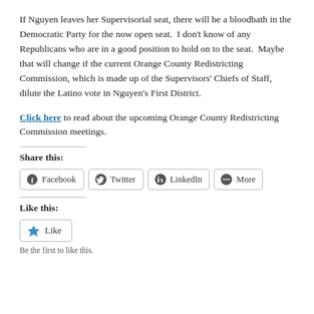If Nguyen leaves her Supervisorial seat, there will be a bloodbath in the Democratic Party for the now open seat.  I don't know of any Republicans who are in a good position to hold on to the seat.  Maybe that will change if the current Orange County Redistricting Commission, which is made up of the Supervisors' Chiefs of Staff, dilute the Latino vote in Nguyen's First District.
Click here to read about the upcoming Orange County Redistricting Commission meetings.
Share this:
Facebook  Twitter  LinkedIn  More
Like this:
Like
Be the first to like this.